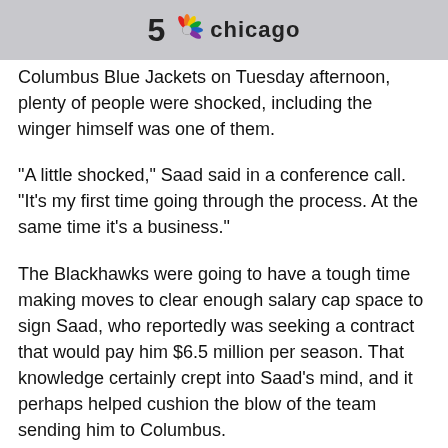5 Chicago NBC
Columbus Blue Jackets on Tuesday afternoon, plenty of people were shocked, including the winger himself was one of them.
“A little shocked,” Saad said in a conference call. “It’s my first time going through the process. At the same time it’s a business.”
The Blackhawks were going to have a tough time making moves to clear enough salary cap space to sign Saad, who reportedly was seeking a contract that would pay him $6.5 million per season. That knowledge certainly crept into Saad’s mind, and it perhaps helped cushion the blow of the team sending him to Columbus.
“With the Blackhawks and how close they are to the cap, you know something was going to happen with me or someone